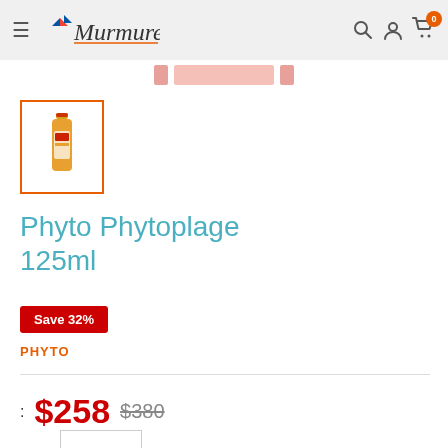Murmure.u — navigation header with hamburger menu, logo, search, account, and cart icons (badge: 0)
[Figure (photo): Product thumbnail of Phyto Phytoplage 125ml bottle in orange/red color, inside an orange-bordered selection box]
Phyto Phytoplage 125ml
Save 32%
PHYTO
: $258  $380